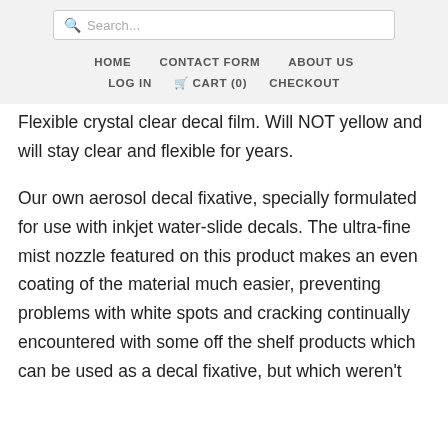Search...
HOME   CONTACT FORM   ABOUT US
LOG IN   CART (0)   CHECKOUT
Flexible crystal clear decal film. Will NOT yellow and will stay clear and flexible for years.
Our own aerosol decal fixative, specially formulated for use with inkjet water-slide decals. The ultra-fine mist nozzle featured on this product makes an even coating of the material much easier, preventing problems with white spots and cracking continually encountered with some off the shelf products which can be used as a decal fixative, but which weren't